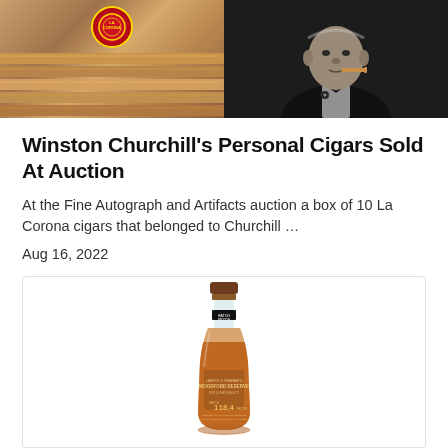[Figure (photo): Two side-by-side photos: left shows cigars with a red La Corona label band, right shows a black and white photo of Winston Churchill in formal attire with a cigar]
Winston Churchill's Personal Cigars Sold At Auction
At the Fine Autograph and Artifacts auction a box of 10 La Corona cigars that belonged to Churchill …
Aug 16, 2022
[Figure (photo): Photo of a whiskey bottle with amber liquid, showing Woodford Reserve label with batch number 118.4, inside a card with a light border]